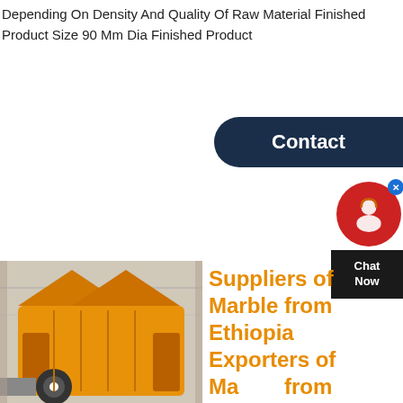Depending On Density And Quality Of Raw Material Finished Product Size 90 Mm Dia Finished Product
[Figure (photo): Orange industrial crushing/grinding machinery in a factory setting]
Suppliers of Marble from Ethiopia Exporters of Marble from Ethiopia
Marble from Ethiopia Free to use unique search engine of reliable, genuine and verified companies, suppliers, exporters, sellers, manufacturers, factories, traders, tradeleads of products and services from all over the world. Sesame Seed, Aromatic Oil, Eucalyptus Globulus Charcoal Stone, marble Sand / Powder. Member since: 17-Dec-